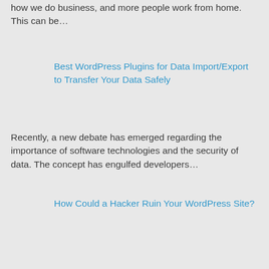how we do business, and more people work from home. This can be…
Best WordPress Plugins for Data Import/Export to Transfer Your Data Safely
Recently, a new debate has emerged regarding the importance of software technologies and the security of data. The concept has engulfed developers…
How Could a Hacker Ruin Your WordPress Site?
You might have noticed security is something that is seen in the headlines more and more often.
6 Tips to Better Website Security for Small-to-Medium Businesses